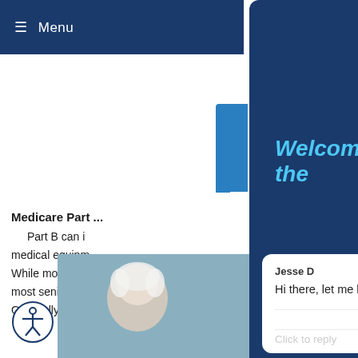≡ Menu
Medicare Part ...
Part B can i... medical equipm... While most se... most seniors pa... Generally, Part ...
The post Guide... a...
[Figure (screenshot): Chat widget modal overlay on a Medicare/insurance website. Shows a dark navy blue modal with the title 'Welcome to the' in italic cyan text, a white chat card below with agent name 'Jesse D', message 'Hi there, let me know if you have any questions :)', powered by gorgias footer, a 'Click to reply' input, and form fields for 'Enter your name' and 'Enter your phone number'. A blue circle button with X appears at bottom right of the modal. A heart icon button appears on the right edge.]
[Figure (photo): Partial photo of an elderly person with white hair, bottom left corner of the page.]